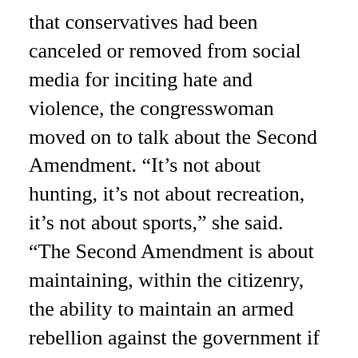that conservatives had been canceled or removed from social media for inciting hate and violence, the congresswoman moved on to talk about the Second Amendment. “It’s not about hunting, it’s not about recreation, it’s not about sports,” she said. “The Second Amendment is about maintaining, within the citizenry, the ability to maintain an armed rebellion against the government if and when that becomes necessary.”
Green concluded her remarks with a poem by Francis Miles Finch’s “The Blue and the Grey” referring to the colors of the Union and Confederate Army’s uniforms.
Those who’re robbed of glory, those in the gloom